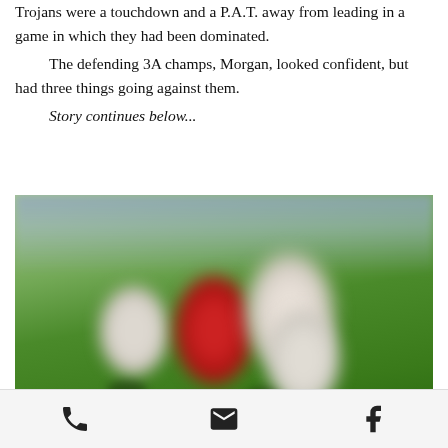Trojans were a touchdown and a P.A.T. away from leading in a game in which they had been dominated.

The defending 3A champs, Morgan, looked confident, but had three things going against them.

Story continues below...
[Figure (photo): Blurry action photo of football players on a green field, with a player in red jersey being tackled by players in white jerseys]